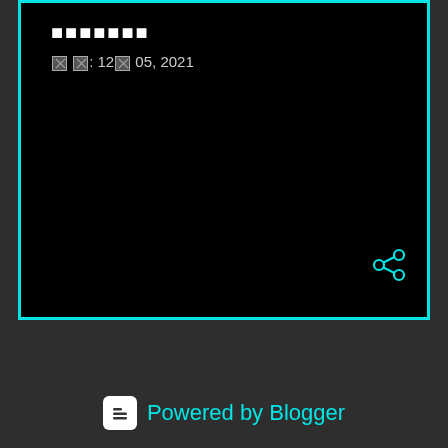□□□□□□□
□ □: 12□ 05, 2021
[Figure (other): Share icon (cyan network/share symbol) in bottom right of black panel]
Powered by Blogger